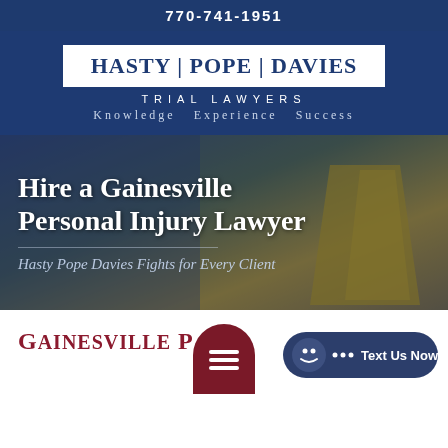770-741-1951
HASTY | POPE | DAVIES
TRIAL LAWYERS
Knowledge  Experience  Success
[Figure (photo): Background image of wet floor caution signs on a tile floor with a person walking nearby. Overlaid with hero text.]
Hire a Gainesville Personal Injury Lawyer
Hasty Pope Davies Fights for Every Client
Gainesville P & ...
[Figure (infographic): Dark red semi-circular mobile menu button with three horizontal white lines (hamburger icon)]
[Figure (infographic): Dark blue rounded chat bubble button with ellipsis and Text Us Now label]